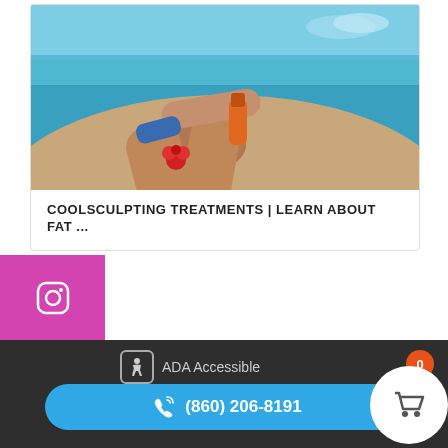[Figure (photo): Beach photo showing a person applying sunscreen lotion, sitting on sand near turquoise ocean water with a red flower visible]
COOLSCULPTING TREATMENTS | LEARN ABOUT FAT ...
[Figure (photo): Instagram icon in pink/magenta square social media button on left side]
[Figure (photo): Facebook icon in dark square social media button on left side]
ADA Accessible
Reserved © 2022 | Website by Medstar Media | Privacy ...
(860) 206-8191